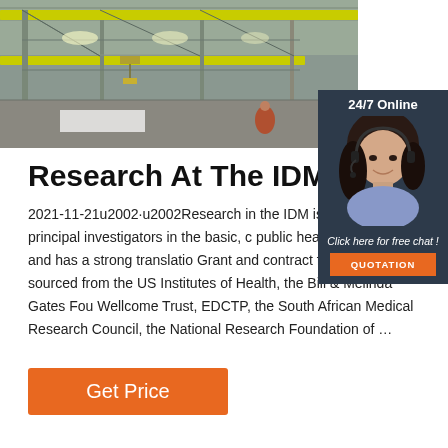[Figure (photo): Industrial warehouse interior with yellow overhead cranes and steel structure]
[Figure (photo): 24/7 Online chat widget showing a woman with headset and a QUOTATION button]
Research At The IDM
2021-11-21  Research in the IDM is le independent principal investigators in the basic, c public health sciences, and has a strong translatio Grant and contract funding is sourced from the US Institutes of Health, the Bill & Melinda Gates Fou Wellcome Trust, EDCTP, the South African Medical Research Council, the National Research Foundation of …
Get Price